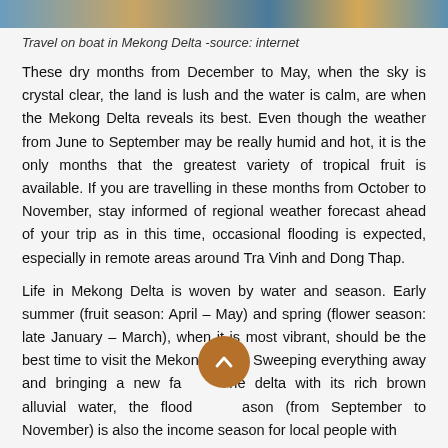[Figure (photo): Top image bar showing travel on boat in Mekong Delta, cropped narrow strip]
Travel on boat in Mekong Delta -source: internet
These dry months from December to May, when the sky is crystal clear, the land is lush and the water is calm, are when the Mekong Delta reveals its best. Even though the weather from June to September may be really humid and hot, it is the only months that the greatest variety of tropical fruit is available. If you are travelling in these months from October to November, stay informed of regional weather forecast ahead of your trip as in this time, occasional flooding is expected, especially in remote areas around Tra Vinh and Dong Thap.
Life in Mekong Delta is woven by water and season. Early summer (fruit season: April – May) and spring (flower season: late January – March), when it is most vibrant, should be the best time to visit the Mekong Delta. Sweeping everything away and bringing a new face to the delta with its rich brown alluvial water, the flood season (from September to November) is also the income season for local people with